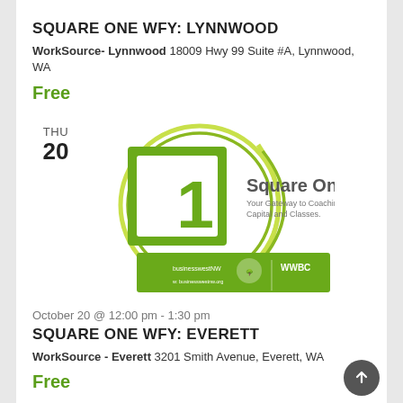SQUARE ONE WFY: LYNNWOOD
WorkSource- Lynnwood 18009 Hwy 99 Suite #A, Lynnwood, WA
Free
[Figure (logo): Square One logo — green square bracket with '1', circular swoosh, text 'Square One Your Gateway to Coaching, Capital and Classes.' with BusinessWest NW and WWBC partner logos on green banner]
October 20 @ 12:00 pm - 1:30 pm
SQUARE ONE WFY: EVERETT
WorkSource - Everett 3201 Smith Avenue, Everett, WA
Free